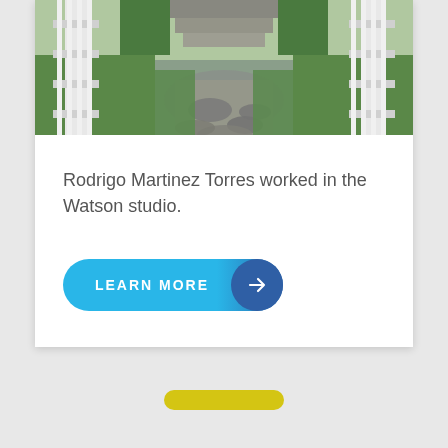[Figure (photo): Outdoor pathway with stone steps, green grass, and white porch railings viewed from a porch perspective]
Rodrigo Martinez Torres worked in the Watson studio.
LEARN MORE →
[Figure (other): Small yellow pill-shaped UI element, likely a scroll indicator]